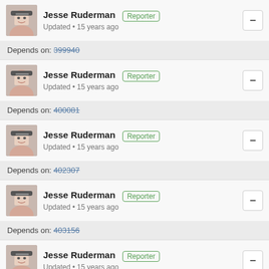Jesse Ruderman [Reporter] Updated • 15 years ago
Depends on: 399940
Jesse Ruderman [Reporter] Updated • 15 years ago
Depends on: 400081
Jesse Ruderman [Reporter] Updated • 15 years ago
Depends on: 402307
Jesse Ruderman [Reporter] Updated • 15 years ago
Depends on: 403156
Jesse Ruderman [Reporter] Updated • 15 years ago